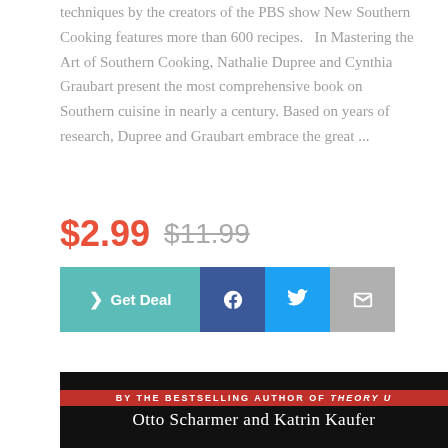techniques by the creators of the PBS show New Southern Cooking features more than 600 recipes.   In Mastering the Art of Southern Cooking, Nathalie Dupree and Cynthia Graubart present the most comprehensive book on Southern cuisine in nearly a century. Based on years of research, Dupree and Graubart embrace the great ...
$2.99  $11.99
[Figure (screenshot): Row of action buttons: teal 'Get Deal' button with chevron, dark blue Facebook button with 'f', light blue Twitter button with bird icon, and grey email/envelope button.]
[Figure (photo): Book cover snippet showing a red banner reading 'BY THE BESTSELLING AUTHOR OF THEORY U' and below it white text on black background reading 'Otto Scharmer and Katrin Kaufer'.]